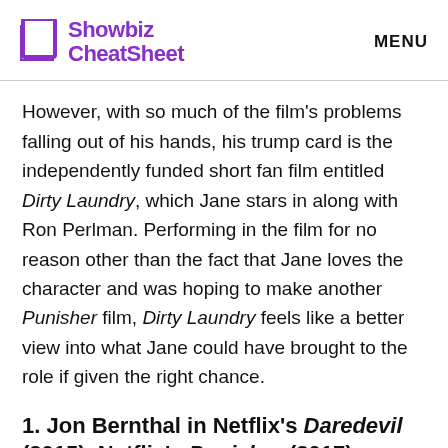Showbiz CheatSheet  MENU
However, with so much of the film's problems falling out of his hands, his trump card is the independently funded short fan film entitled Dirty Laundry, which Jane stars in along with Ron Perlman. Performing in the film for no reason other than the fact that Jane loves the character and was hoping to make another Punisher film, Dirty Laundry feels like a better view into what Jane could have brought to the role if given the right chance.
1. Jon Bernthal in Netflix's Daredevil (2015), Netflix's Punisher (2017)